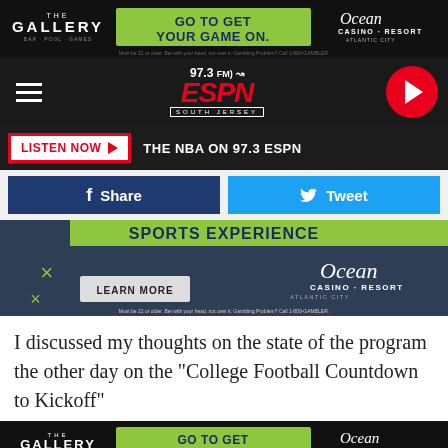[Figure (screenshot): The Gallery bar and Ocean Casino Resort advertisement banner: GO TO GET YOUR GAME ON.]
[Figure (logo): 97.3 FM ESPN South Jersey radio station logo with navigation bar and play button]
LISTEN NOW ▶  THE NBA ON 97.3 ESPN
[Figure (screenshot): Facebook Share and Twitter Tweet buttons]
[Figure (screenshot): Ocean Casino Resort Sports Experience advertisement with LEARN MORE button]
I discussed my thoughts on the state of the program the other day on the "College Football Countdown to Kickoff"
[Figure (screenshot): The Gallery bar and Ocean Casino Resort advertisement banner at bottom: GO TO GET YOUR GAME ON.]